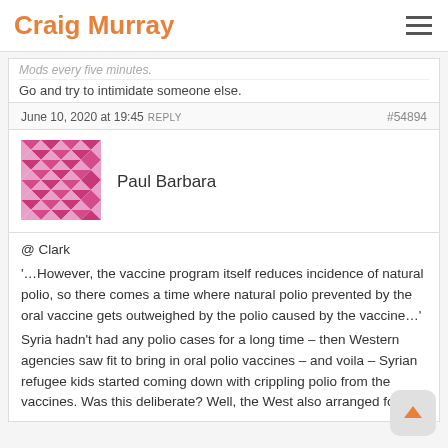Craig Murray
Mods every five minutes.
Go and try to intimidate someone else.
June 10, 2020 at 19:45  REPLY   #54894
[Figure (illustration): Avatar icon with pink/magenta geometric diamond pattern]
Paul Barbara
@ Clark
'…However, the vaccine program itself reduces incidence of natural polio, so there comes a time where natural polio prevented by the oral vaccine gets outweighed by the polio caused by the vaccine…'
Syria hadn't had any polio cases for a long time – then Western agencies saw fit to bring in oral polio vaccines – and voila – Syrian refugee kids started coming down with crippling polio from the vaccines. Was this deliberate? Well, the West also arranged for